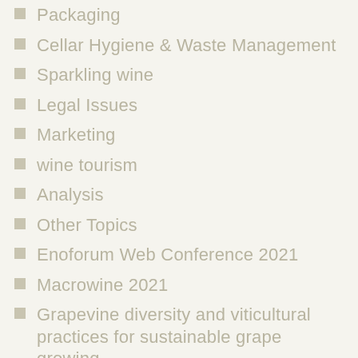Packaging
Cellar Hygiene & Waste Management
Sparkling wine
Legal Issues
Marketing
wine tourism
Analysis
Other Topics
Enoforum Web Conference 2021
Macrowine 2021
Grapevine diversity and viticultural practices for sustainable grape growing
Microbial ecology from vineyard to consumption
Novel tools and strategies for precision and sustainable varietal and regional enology
Wine longevity and shelf-life